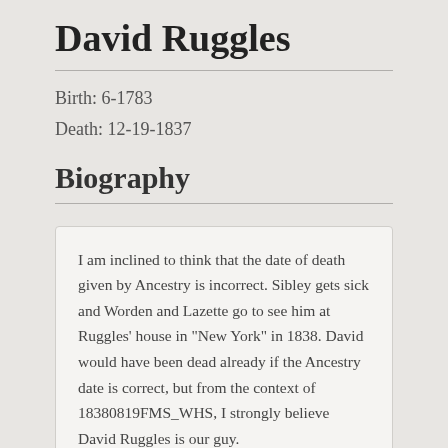David Ruggles
Birth: 6-1783
Death: 12-19-1837
Biography
I am inclined to think that the date of death given by Ancestry is incorrect. Sibley gets sick and Worden and Lazette go to see him at Ruggles' house in "New York" in 1838. David would have been dead already if the Ancestry date is correct, but from the context of 18380819FMS_WHS, I strongly believe David Ruggles is our guy.